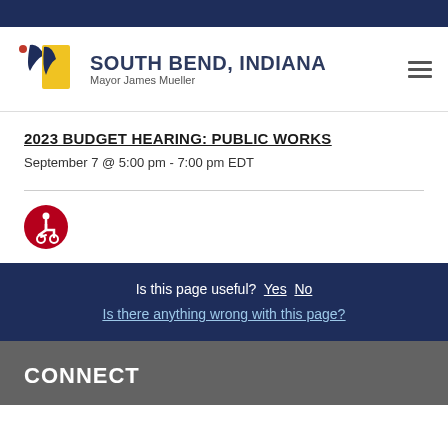South Bend, Indiana — Mayor James Mueller
2023 BUDGET HEARING: PUBLIC WORKS
September 7 @ 5:00 pm - 7:00 pm EDT
[Figure (illustration): Wheelchair accessibility icon — red circle with white figure in wheelchair]
Is this page useful? Yes No
Is there anything wrong with this page?
CONNECT